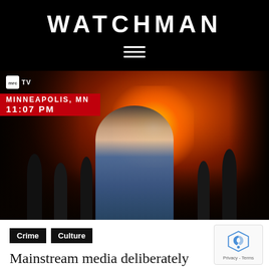WATCHMAN
[Figure (screenshot): News broadcast screenshot from mrcTV showing a reporter in glasses and a blue vest/jacket standing in front of a large fire at night in Minneapolis, MN at 11:07 PM. There are people silhouetted in the background and a large building engulfed in flames. The lower-third graphic reads MINNEAPOLIS, MN 11:07 PM on a red banner.]
Crime
Culture
Mainstream media deliberately frames